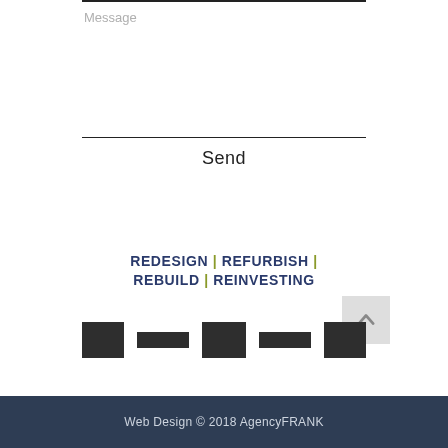Message
Send
REDESIGN | REFURBISH | REBUILD | REINVESTING
[Figure (other): Row of five social media or brand icon placeholders as dark rectangles, with a back-to-top arrow button on the right.]
Web Design © 2018 AgencyFRANK